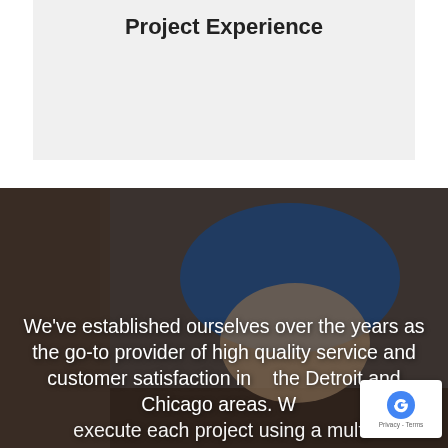Project Experience
[Figure (photo): Construction worker wearing a blue hard hat looking upward, overlaid with semi-transparent dark background. Text overlay reads: We've established ourselves over the years as the go-to provider of high quality service and customer satisfaction in the Detroit and Chicago areas. We execute each project using a multi-]
We've established ourselves over the years as the go-to provider of high quality service and customer satisfaction in the Detroit and Chicago areas. We execute each project using a multi-